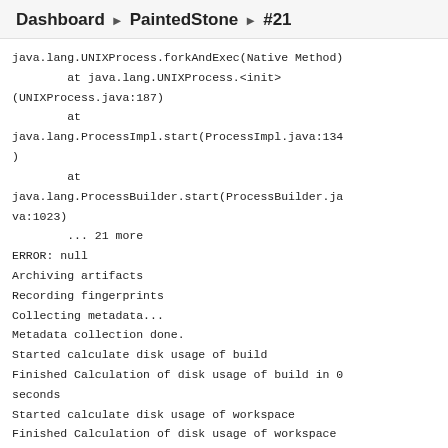Dashboard ▶ PaintedStone ▶ #21
java.lang.UNIXProcess.forkAndExec(Native Method)
        at java.lang.UNIXProcess.<init>(UNIXProcess.java:187)
        at
java.lang.ProcessImpl.start(ProcessImpl.java:134)
        at
java.lang.ProcessBuilder.start(ProcessBuilder.java:1023)
        ... 21 more
ERROR: null
Archiving artifacts
Recording fingerprints
Collecting metadata...
Metadata collection done.
Started calculate disk usage of build
Finished Calculation of disk usage of build in 0 seconds
Started calculate disk usage of workspace
Finished Calculation of disk usage of workspace in 0 seconds